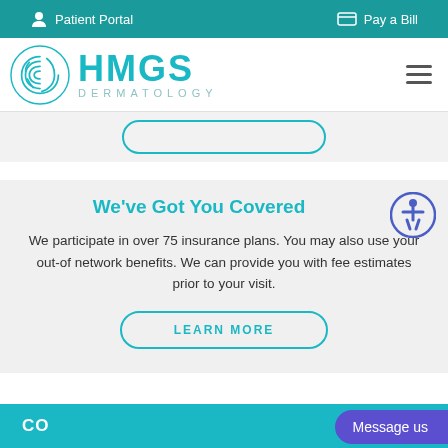Patient Portal   Pay a Bill
[Figure (logo): HMGS Dermatology logo with fingerprint graphic and teal HMGS text]
[Figure (other): Partially visible rounded button outline]
We've Got You Covered
We participate in over 75 insurance plans. You may also use your out-of-network benefits. We can provide you with fee estimates prior to your visit.
LEARN MORE
CO  Message us